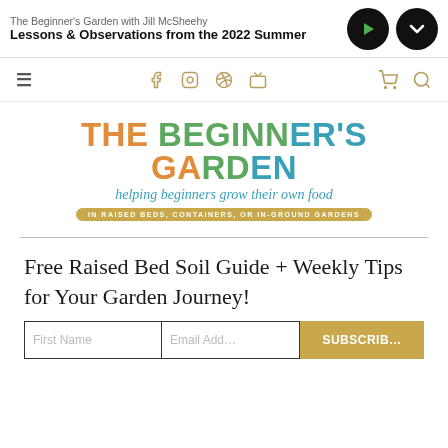The Beginner's Garden with Jill McSheehy
Lessons & Observations from the 2022 Summer
[Figure (screenshot): Navigation bar with hamburger menu, social media icons (Facebook, Instagram, Pinterest, YouTube), cart and search icons in gold/tan color]
[Figure (logo): The Beginner's Garden logo — multicolor text with tagline 'helping beginners grow their own food' and badge 'IN RAISED BEDS, CONTAINERS, OR IN-GROUND GARDENS']
Free Raised Bed Soil Guide + Weekly Tips for Your Garden Journey!
[Figure (screenshot): Email signup form with First Name field, Email Address field, and SUBSCRIBE button in gold]